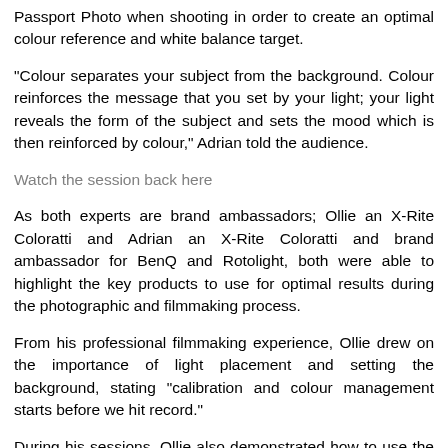Passport Photo when shooting in order to create an optimal colour reference and white balance target.
"Colour separates your subject from the background. Colour reinforces the message that you set by your light; your light reveals the form of the subject and sets the mood which is then reinforced by colour," Adrian told the audience.
Watch the session back here
As both experts are brand ambassadors; Ollie an X-Rite Coloratti and Adrian an X-Rite Coloratti and brand ambassador for BenQ and Rotolight, both were able to highlight the key products to use for optimal results during the photographic and filmmaking process.
From his professional filmmaking experience, Ollie drew on the importance of light placement and setting the background, stating "calibration and colour management starts before we hit record."
During his sessions, Ollie also demonstrated how to use the Rotolight NEO to provide a backlight during shooting. He